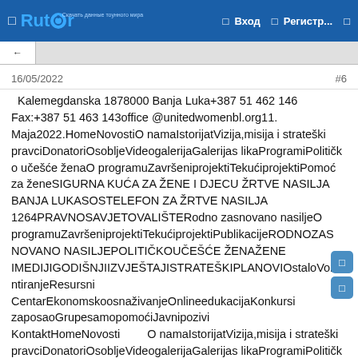Rutor | Вход | Регистр...
16/05/2022
#6
Kalemegdanska 1878000 Banja Luka+387 51 462 146 Fax:+387 51 463 143office @unitedwomenbl.org11.Maja2022.HomeNovostiO namaIstorijatVizija,misija i strateški pravciDonatoriOsobljeVideogalerijaGalerijas likaProgramiPolitičko učešće ženaO programuZavršeniprojektiTekućiprojektiPomoć za ženeSIGURNA KUĆA ZA ŽENE I DJECU ŽRTVE NASILJA BANJA LUKASOSTELEFON ZA ŽRTVE NASILJA 1264PRAVNOSAVJETOVALIŠTE Rodno zasnovano nasiljeO programuZavršeniprojektiTekućiprojektiPublikacijeRODNOZASNOVANO NASILJEPOLITIČKOUČEŠĆE ŽENAŽENE IMEDIJIGODIŠNJIIZVJEŠTAJISTRATEŠKI PLANOVIOstaloVolontiranjeResursni CentarEkonomskoosnaživanjeOnlineedukacijaKonkursi zaposaoGrupesamopomoćiJavnipozivi KontaktHomeNovostiO namaIstorijatVizija,misija i strateški pravciDonatoriOsobljeVideogalerijaGalerijas likaProgramiPolitičk